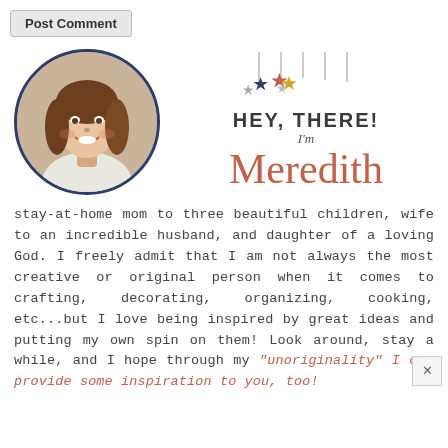[Figure (other): A button labeled 'Post Comment' in gray]
[Figure (photo): Circular profile photo of a woman with brown hair smiling, bordered with dark navy circle, alongside decorative stars and 'HEY, THERE! I'm Meredith' text logo]
stay-at-home mom to three beautiful children, wife to an incredible husband, and daughter of a loving God. I freely admit that I am not always the most creative or original person when it comes to crafting, decorating, organizing, cooking, etc...but I love being inspired by great ideas and putting my own spin on them! Look around, stay a while, and I hope through my "unoriginality" I can provide some inspiration to you, too!